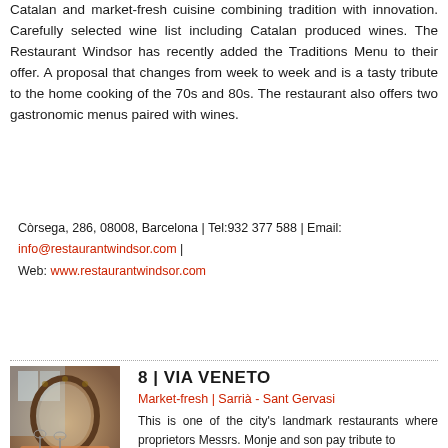Catalan and market-fresh cuisine combining tradition with innovation. Carefully selected wine list including Catalan produced wines. The Restaurant Windsor has recently added the Traditions Menu to their offer. A proposal that changes from week to week and is a tasty tribute to the home cooking of the 70s and 80s. The restaurant also offers two gastronomic menus paired with wines.
Còrsega, 286, 08008, Barcelona | Tel:932 377 588 | Email: info@restaurantwindsor.com | Web: www.restaurantwindsor.com
8 | VIA VENETO
Market-fresh | Sarrià - Sant Gervasi
[Figure (photo): Interior photo of Via Veneto restaurant showing dining room with round mirror, elegant decor, and orange tablecloths]
This is one of the city's landmark restaurants where proprietors Messrs. Monje and son pay tribute to traditional Catalan cooking, with subtle signature touches from master chef David Andrés. Wine tastings and tours of the cellar accompanied by the sommelier.